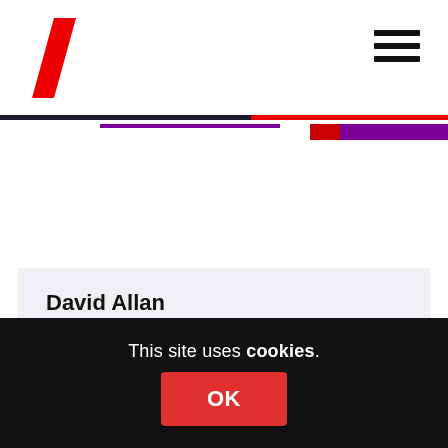David Allan
6th March 2016 at 1:46 pm
Post Indy I ridiculed those who believed the Project Fear scaremongering , yet so many INDY supporting Yessers have themselves fallen into that same media trap.
Reply
David Allan
This site uses cookies. OK